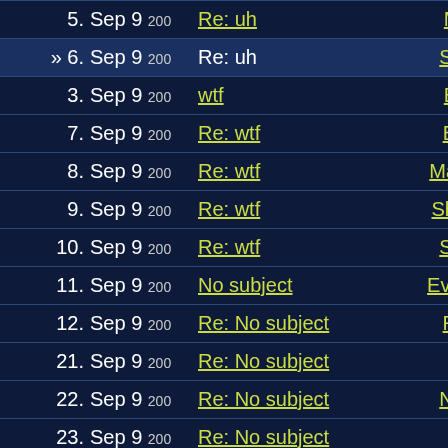| # | Date | Subject | Author |
| --- | --- | --- | --- |
| 5. | Sep 9 200 | Re: uh | Mr Gar |
| » 6. | Sep 9 200 | Re: uh | Squir… |
| 3. | Sep 9 200 | wtf | Enemy |
| 7. | Sep 9 200 | Re: wtf | Belly… |
| 8. | Sep 9 200 | Re: wtf | Mangr… |
| 9. | Sep 9 200 | Re: wtf | Shataan |
| 10. | Sep 9 200 | Re: wtf | Squir… |
| 11. | Sep 9 200 | No subject | EvilGo… |
| 12. | Sep 9 200 | Re: No subject | Rebian |
| 21. | Sep 9 200 | Re: No subject | Hump |
| 22. | Sep 9 200 | Re: No subject | Nassus |
| 23. | Sep 9 200 | Re: No subject | Gog |
| 24. | Sep 9 200 | Re: No subject | spacerat |